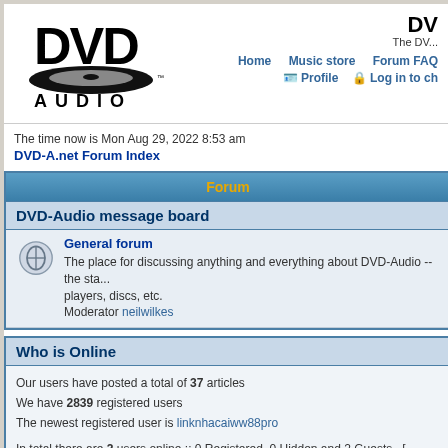[Figure (logo): DVD Audio logo with disc graphic and AUDIO text beneath]
DVD-A.net Forum Index | The DV... | Home | Music store | Forum FAQ | Profile | Log in to ch...
The time now is Mon Aug 29, 2022 8:53 am
DVD-A.net Forum Index
Forum
DVD-Audio message board
General forum
The place for discussing anything and everything about DVD-Audio -- the sta... players, discs, etc.
Moderator neilwilkes
Who is Online
Our users have posted a total of 37 articles
We have 2839 registered users
The newest registered user is linknhacaiww88pro

In total there are 2 users online :: 0 Registered, 0 Hidden and 2 Guests  [ Administrator ]  [ Mo...
Most users ever online was 130 on Wed Mar 11, 2020 10:50 pm
Registered Users: None
This data is based on users active over the past five minutes
Log in